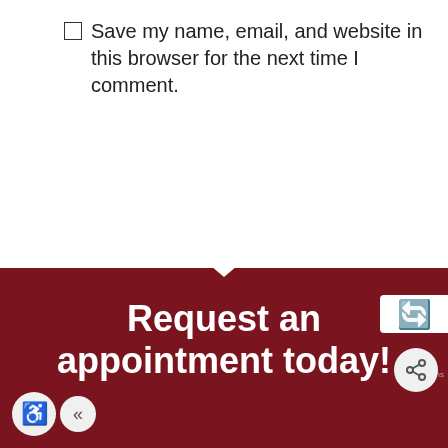Save my name, email, and website in this browser for the next time I comment.
Submit Comment
Request an appointment today!
MAKE APPOINTMENT